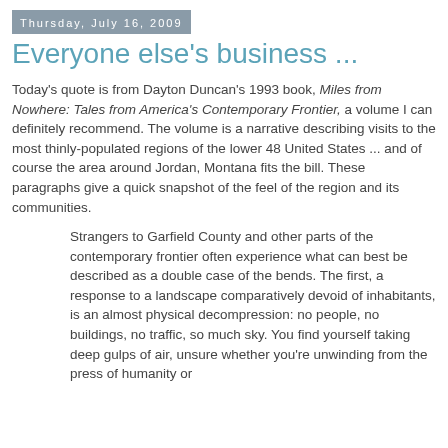Thursday, July 16, 2009
Everyone else's business ...
Today's quote is from Dayton Duncan's 1993 book, Miles from Nowhere: Tales from America's Contemporary Frontier, a volume I can definitely recommend. The volume is a narrative describing visits to the most thinly-populated regions of the lower 48 United States ... and of course the area around Jordan, Montana fits the bill. These paragraphs give a quick snapshot of the feel of the region and its communities.
Strangers to Garfield County and other parts of the contemporary frontier often experience what can best be described as a double case of the bends. The first, a response to a landscape comparatively devoid of inhabitants, is an almost physical decompression: no people, no buildings, no traffic, so much sky. You find yourself taking deep gulps of air, unsure whether you're unwinding from the press of humanity or becoming aware of another kind of constraint.